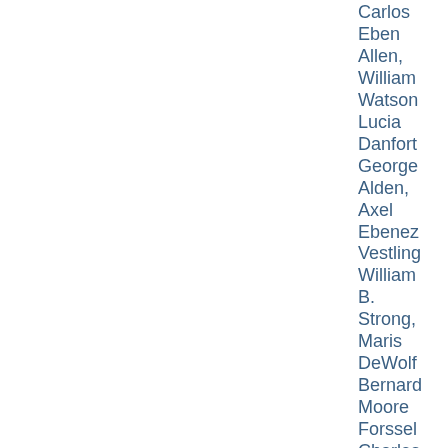Carlos
Eben
Allen,
William
Watson
Lucia
Danfort
George
Alden,
Axel
Ebenez
Vestling
William
B.
Strong,
Maris
DeWolf
Bernard
Moore
Forssel
Charles
W.
Greenin
Lowell
Jepson
Harold
Johnsr
Alice
Meyer
Markley